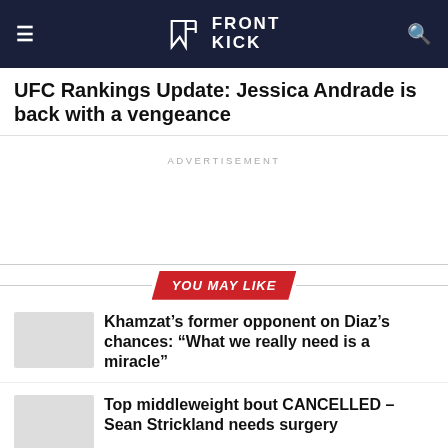FRONT KICK
UFC Rankings Update: Jessica Andrade is back with a vengeance
ADVERTISEMENT
YOU MAY LIKE
Khamzat's former opponent on Diaz's chances: “What we really need is a miracle”
Top middleweight bout CANCELLED – Sean Strickland needs surgery